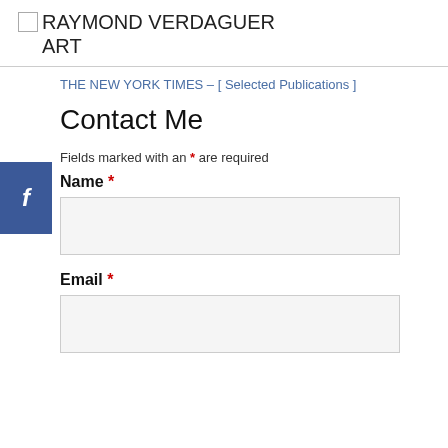RAYMOND VERDAGUER ART
THE NEW YORK TIMES – [ Selected Publications ]
Contact Me
Fields marked with an * are required
Name *
Email *